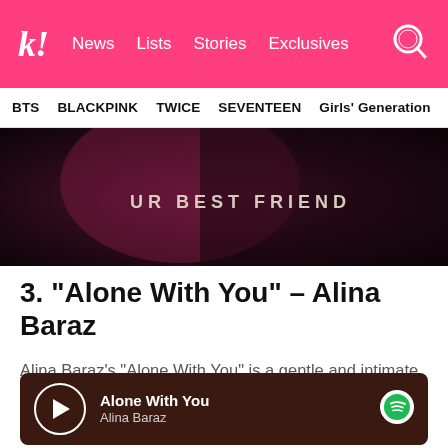k! News  Lists  Stories  Exclusives
BTS  BLACKPINK  TWICE  SEVENTEEN  Girls' Generation
[Figure (photo): Dark moody promotional image with text overlay 'UR BEST FRIEND' in stylized white lettering on a dark pink/purple background showing a singer]
3. “Alone With You” – Alina Baraz
Alina Baraz’s “Alone With You” is a gentle and intimate track that showcases the singer’s airy voice.
[Figure (other): Spotify embedded player showing track 'Alone With You' by Alina Baraz with a play button and Spotify logo on a dark brown background]